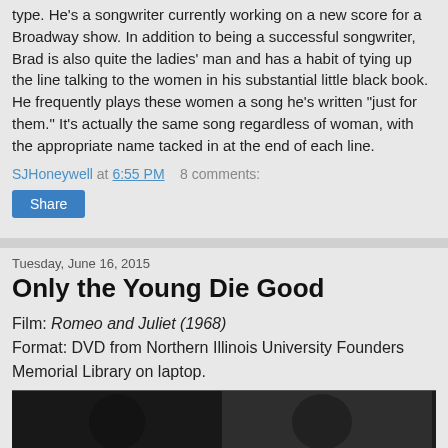type. He's a songwriter currently working on a new score for a Broadway show. In addition to being a successful songwriter, Brad is also quite the ladies' man and has a habit of tying up the line talking to the women in his substantial little black book. He frequently plays these women a song he's written "just for them." It's actually the same song regardless of woman, with the appropriate name tacked in at the end of each line.
SJHoneywell at 6:55 PM   8 comments:
Share
Tuesday, June 16, 2015
Only the Young Die Good
Film: Romeo and Juliet (1968)
Format: DVD from Northern Illinois University Founders Memorial Library on laptop.
[Figure (photo): Dark photo strip at the bottom of the page, partially visible, showing what appears to be a scene from a film.]